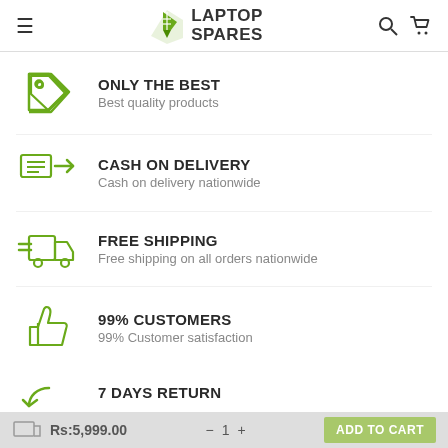[Figure (logo): Laptop Spares logo with green leaf-shaped icon and text LAPTOP SPARES]
ONLY THE BEST
Best quality products
CASH ON DELIVERY
Cash on delivery nationwide
FREE SHIPPING
Free shipping on all orders nationwide
99% CUSTOMERS
99% Customer satisfaction
7 DAYS RETURN